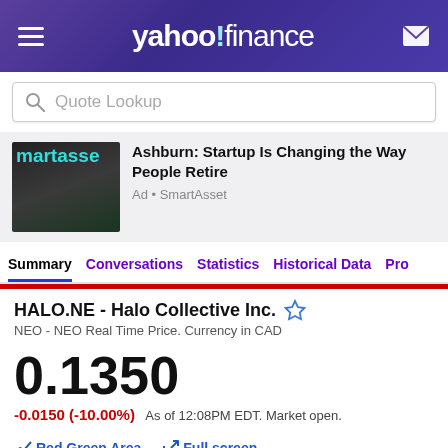yahoo!finance
Quote Lookup
[Figure (photo): SmartAsset advertisement thumbnail showing group of people with teal 'martasse' text overlay]
Ashburn: Startup Is Changing the Way People Retire
Ad • SmartAsset
Summary  Conversations  Statistics  Historical Data  Pro
HALO.NE - Halo Collective Inc.
NEO - NEO Real Time Price. Currency in CAD
0.1350
-0.0150 (-10.00%)  As of 12:08PM EDT. Market open.
Red Green Area   Full screen